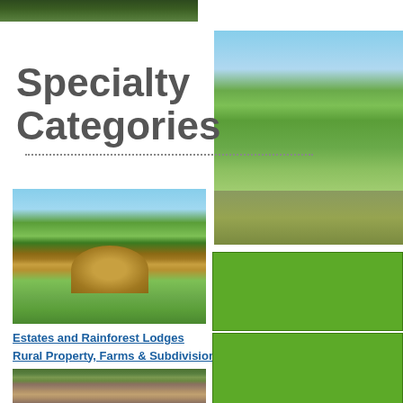[Figure (photo): Partial aerial/nature photo cropped at top of page, left side]
[Figure (photo): Right column landscape photo showing green field and treeline]
Specialty Categories
[Figure (photo): Tropical estate with round wooden lodge/house surrounded by lush vegetation]
Estates and Rainforest Lodges
Rural Property, Farms & Subdivisions
ALL THE LISTINGS
[Figure (photo): Aerial view of town with colorful rooftops and surrounding forest]
[Figure (photo): Green background panel on right side (top)]
[Figure (photo): Green background panel with forest/tree photo inset on right side (bottom)]